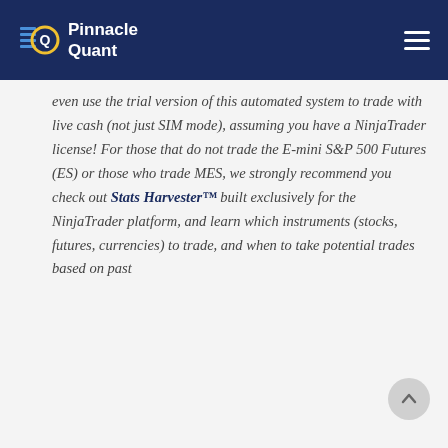Pinnacle Quant
even use the trial version of this automated system to trade with live cash (not just SIM mode), assuming you have a NinjaTrader license! For those that do not trade the E-mini S&P 500 Futures (ES) or those who trade MES, we strongly recommend you check out Stats Harvester™ built exclusively for the NinjaTrader platform, and learn which instruments (stocks, futures, currencies) to trade, and when to take potential trades based on past